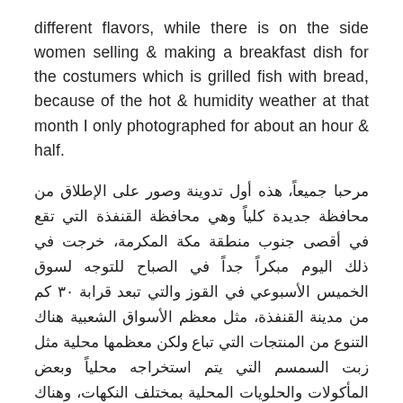different flavors, while there is on the side women selling & making a breakfast dish for the costumers which is grilled fish with bread, because of the hot & humidity weather at that month I only photographed for about an hour & half.
مرحبا جميعاً، هذه أول تدوينة وصور على الإطلاق من محافظة جديدة كلياً وهي محافظة القنفذة التي تقع في أقصى جنوب منطقة مكة المكرمة، خرجت في ذلك اليوم مبكراً جداً في الصباح للتوجه لسوق الخميس الأسبوعي في القوز والتي تبعد قرابة ٣٠ كم من مدينة القنفذة، مثل معظم الأسواق الشعبية هناك التنوع من المنتجات التي تباع ولكن معظمها محلية مثل زبت السمسم التي يتم استخراجه محلياً وبعض المأكولات والحلويات المحلية بمختلف النكهات، وهناك على الجانب يوجد مجموعة من النساء يقومون بطبخ طبق إفطار معين لزبائن السوق وهو طبق مشهور ولذيذ بشكل محلي يسمى شعبية وهو عبارة عن سمك يطبخ في تنور